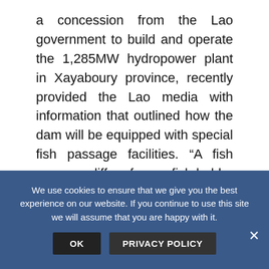a concession from the Lao government to build and operate the 1,285MW hydropower plant in Xayaboury province, recently provided the Lao media with information that outlined how the dam will be equipped with special fish passage facilities. “A fish passage differs from a fish ladder whereby fish can naturally swim through the passage instead of jumping over each pool as in the case of a fish ladder,” the company says as quoted in its brochure. The company also
We use cookies to ensure that we give you the best experience on our website. If you continue to use this site we will assume that you are happy with it.